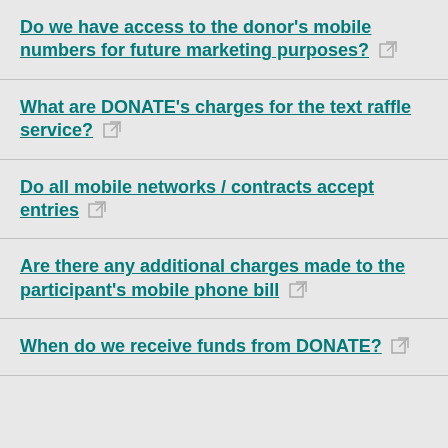Do we have access to the donor's mobile numbers for future marketing purposes?
What are DONATE's charges for the text raffle service?
Do all mobile networks / contracts accept entries
Are there any additional charges made to the participant's mobile phone bill
When do we receive funds from DONATE?